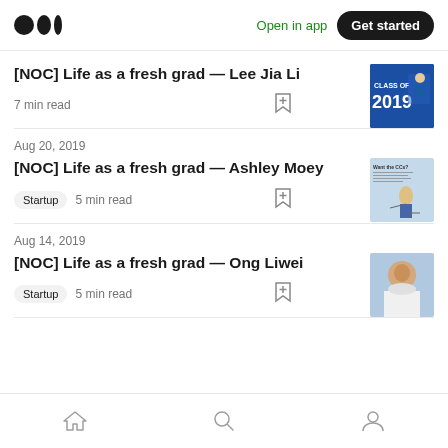Medium logo | Open in app | Get started
[NOC] Life as a fresh grad — Lee Jia Li
7 min read
Aug 20, 2019
[NOC] Life as a fresh grad — Ashley Moey
Startup  5 min read
Aug 14, 2019
[NOC] Life as a fresh grad — Ong Liwei
Startup  5 min read
Home | Search | Profile